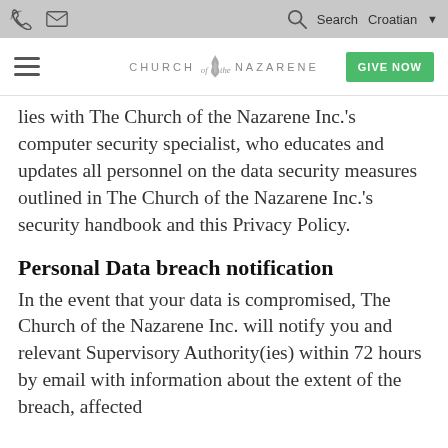Church of the Nazarene website header with navigation
lies with The Church of the Nazarene Inc.'s computer security specialist, who educates and updates all personnel on the data security measures outlined in The Church of the Nazarene Inc.'s security handbook and this Privacy Policy.
Personal Data breach notification
In the event that your data is compromised, The Church of the Nazarene Inc. will notify you and relevant Supervisory Authority(ies) within 72 hours by email with information about the extent of the breach, affected